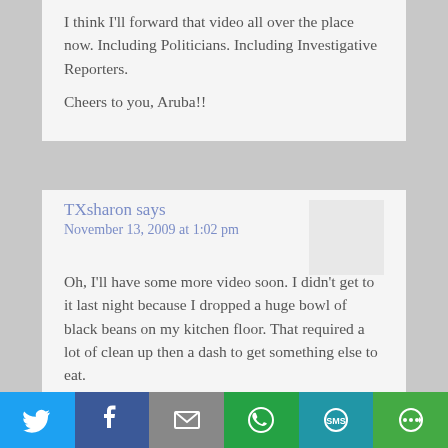I think I'll forward that video all over the place now. Including Politicians. Including Investigative Reporters.

Cheers to you, Aruba!!
TXsharon says
November 13, 2009 at 1:02 pm

Oh, I'll have some more video soon. I didn't get to it last night because I dropped a huge bowl of black beans on my kitchen floor. That required a lot of clean up then a dash to get something else to eat.

Aruba doesn't like being on my blog but it's so, so easy for